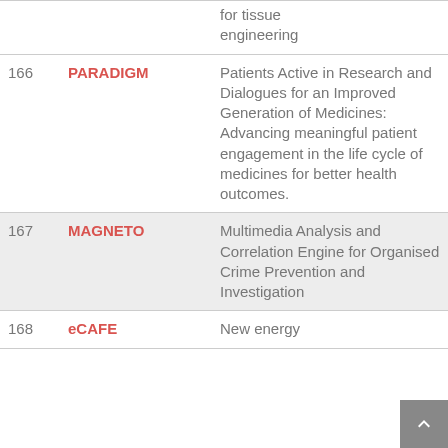| # | Acronym | Description |
| --- | --- | --- |
|  |  | for tissue engineering |
| 166 | PARADIGM | Patients Active in Research and Dialogues for an Improved Generation of Medicines: Advancing meaningful patient engagement in the life cycle of medicines for better health outcomes. |
| 167 | MAGNETO | Multimedia Analysis and Correlation Engine for Organised Crime Prevention and Investigation |
| 168 | eCAFE | New energy |